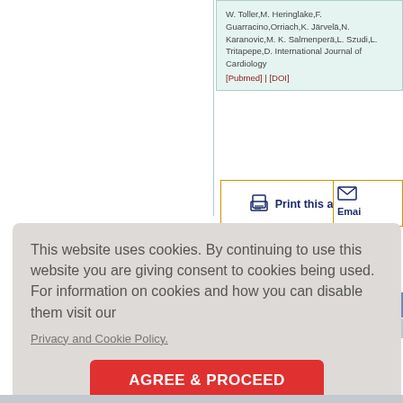W. Toller,M. Heringlake,F. Guarracino,Orriach,K. Järvelä,N. Karanovic,M. K. Salmenperä,L. Szudi,L. Tritapepe,D. International Journal of Cardiology [Pubmed] | [DOI]
[Figure (screenshot): Print this article button with print icon, orange border]
[Figure (screenshot): Email to you button partially visible, orange border]
Privacy
This website uses cookies. By continuing to use this website you are giving consent to cookies being used. For information on cookies and how you can disable them visit our
Privacy and Cookie Policy.
AGREE & PROCEED